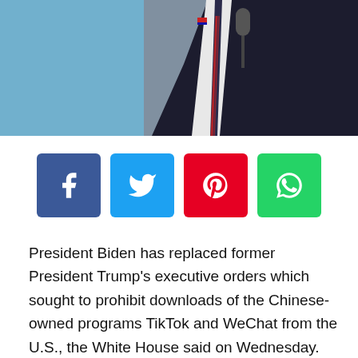[Figure (photo): Partial view of a man in a dark suit and tie speaking into a microphone, against a blue-gray background]
[Figure (infographic): Social media share buttons: Facebook (blue), Twitter (light blue), Pinterest (red), WhatsApp (green)]
President Biden has replaced former President Trump's executive orders which sought to prohibit downloads of the Chinese-owned programs TikTok and WeChat from the U.S., the White House said on Wednesday.
Rather than his predecessor's orders, Biden led an"evidence-based" evaluation of dangers posed by applications and programs designed and developed with a foreign adversary, such as China, that may represent an"undue or unacceptable risk to the national security" of the American public, according